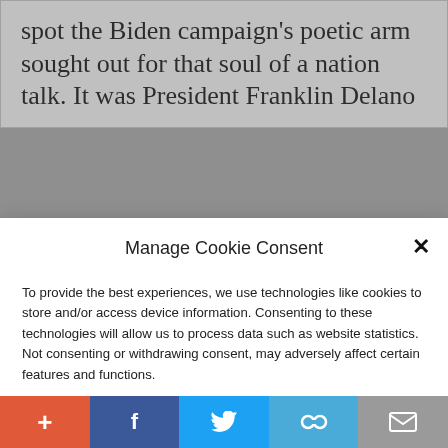spot the Biden campaign's poetic arm sought out for that soul of a nation talk. It was President Franklin Delano
Manage Cookie Consent
To provide the best experiences, we use technologies like cookies to store and/or access device information. Consenting to these technologies will allow us to process data such as website statistics. Not consenting or withdrawing consent, may adversely affect certain features and functions.
Accept
Cookie Policy  Privacy Policy
debate performance, where he scared